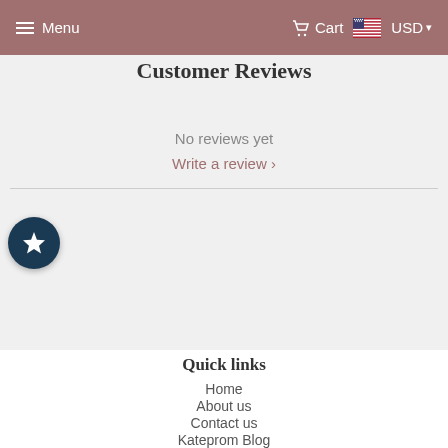Menu  Cart  USD
Customer Reviews
No reviews yet
Write a review ›
[Figure (other): Dark teal circular badge with white star icon]
Quick links
Home
About us
Contact us
Kateprom Blog
Company Policies